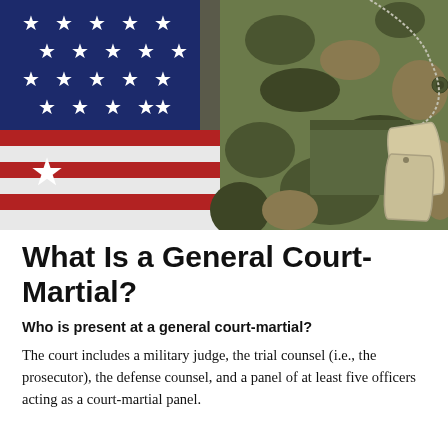[Figure (photo): American flag with white stars on blue field and red and white stripes, alongside military camouflage uniform with dog tags hanging from a ball chain on a pocket]
What Is a General Court-Martial?
Who is present at a general court-martial?
The court includes a military judge, the trial counsel (i.e., the prosecutor), the defense counsel, and a panel of at least five officers acting as a court-martial panel.